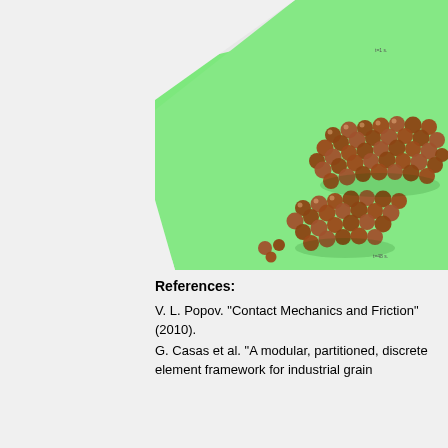[Figure (photo): 3D simulation visualization showing brown spherical particles (granular material) scattered on a bright green tilted plane/surface, rendered as a discrete element simulation. Two clusters of brown spheres visible on a green polygonal background. Small text labels visible at corners reading 't=1s' and 't=48s'.]
References:
V. L. Popov. "Contact Mechanics and Friction" (2010).
G. Casas et al. "A modular, partitioned, discrete element framework for industrial grain...